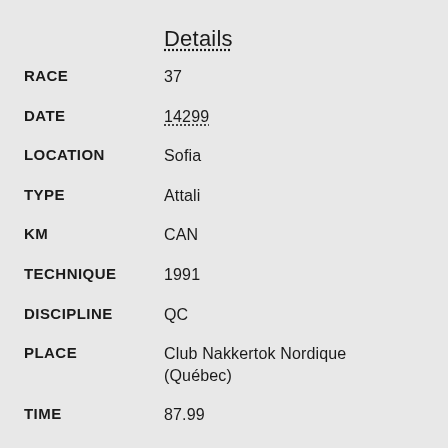Details
RACE: 37
DATE: 14299
LOCATION: Sofia
TYPE: Attali
KM: CAN
TECHNIQUE: 1991
DISCIPLINE: QC
PLACE: Club Nakkertok Nordique (Québec)
TIME: 87.99